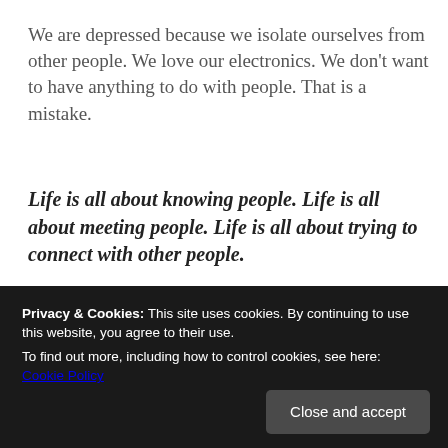We are depressed because we isolate ourselves from other people. We love our electronics. We don't want to have anything to do with people. That is a mistake.
Life is all about knowing people. Life is all about meeting people. Life is all about trying to connect with other people.
If you isolate yourself, how can you know other people? If you don't reach out to other people, how can you know them. You can't. The world around you will
Privacy & Cookies: This site uses cookies. By continuing to use this website, you agree to their use.
To find out more, including how to control cookies, see here: Cookie Policy